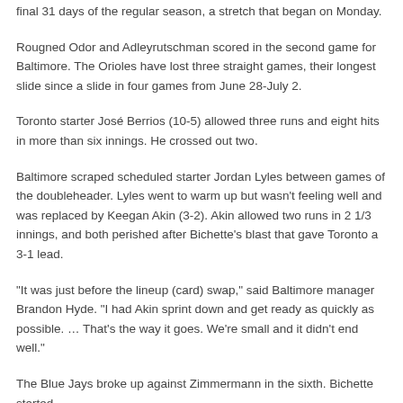final 31 days of the regular season, a stretch that began on Monday.
Rougned Odor and Adleyrutschman scored in the second game for Baltimore. The Orioles have lost three straight games, their longest slide since a slide in four games from June 28-July 2.
Toronto starter José Berrios (10-5) allowed three runs and eight hits in more than six innings. He crossed out two.
Baltimore scraped scheduled starter Jordan Lyles between games of the doubleheader. Lyles went to warm up but wasn't feeling well and was replaced by Keegan Akin (3-2). Akin allowed two runs in 2 1/3 innings, and both perished after Bichette's blast that gave Toronto a 3-1 lead.
"It was just before the lineup (card) swap," said Baltimore manager Brandon Hyde. "I had Akin sprint down and get ready as quickly as possible. ... That's the way it goes. We're small and it didn't end well."
The Blue Jays broke up against Zimmermann in the sixth. Bichette started